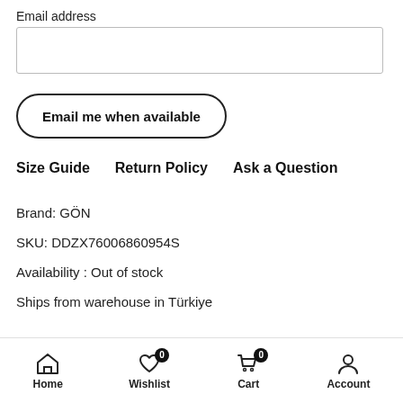Email address
Email me when available
Size Guide    Return Policy    Ask a Question
Brand: GÖN
SKU: DDZX76006860954S
Availability : Out of stock
Ships from warehouse in Türkiye
Home    Wishlist 0    Cart 0    Account